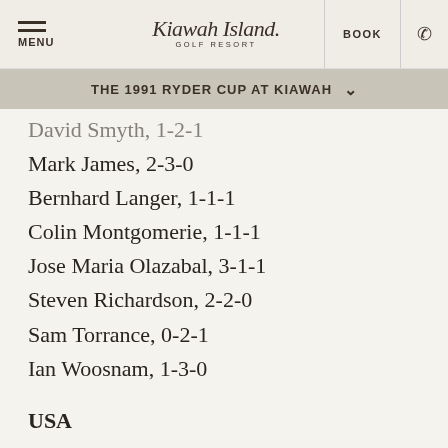MENU | Kiawah Island Golf Resort | BOOK
THE 1991 RYDER CUP AT KIAWAH
David Smyth, 1-2-1
Mark James, 2-3-0
Bernhard Langer, 1-1-1
Colin Montgomerie, 1-1-1
Jose Maria Olazabal, 3-1-1
Steven Richardson, 2-2-0
Sam Torrance, 0-2-1
Ian Woosnam, 1-3-0
USA
Paul Azinger, 2-3-0
Chip Beck, 1-2-0
Mark Calcavecchia, 2-1-1
Fred Couples, 3-1-1